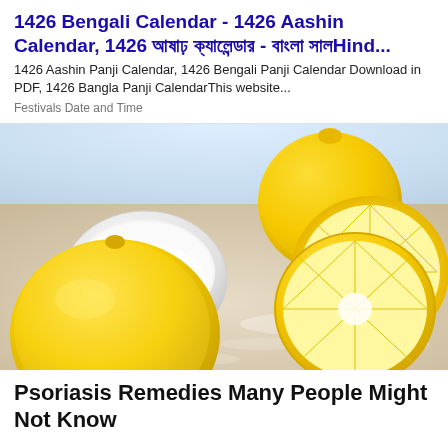1426 Bengali Calendar - 1426 Aashin Calendar, 1426 আষাঢ় ক্যালেন্ডার - বাংলা সালHind...
1426 Aashin Panji Calendar, 1426 Bengali Panji Calendar Download in PDF, 1426 Bangla Panji CalendarThis website...
Festivals Date and Time
[Figure (photo): Photo of lemons and lemon halves with a bowl of white powder/sugar and a sprig of rosemary on a light sandy surface]
Psoriasis Remedies Many People Might Not Know